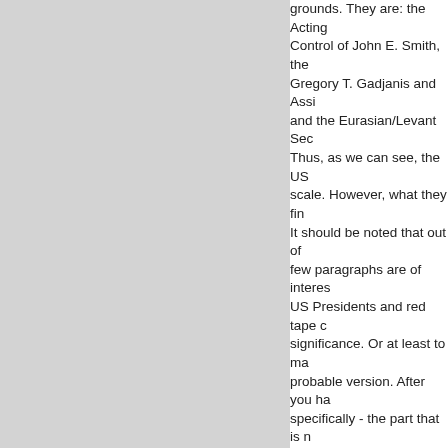grounds. They are: the Acting Control of John E. Smith, the Gregory T. Gadjanis and Assi and the Eurasian/Levant Sec Thus, as we can see, the US scale. However, what they fin It should be noted that out of few paragraphs are of interes US Presidents and red tape c significance. Or at least to ma probable version. After you ha specifically - the part that is n find very strange things. This is how, for example, the reason why the head of FIDE "Kirsan Ilyumzhinov has prov providing financial, material o purported act for or on behalf of Syria, the Central Bank of S You should pay attention to th he has really acted or allege matter: "even your grandma w That shows that US Treasun